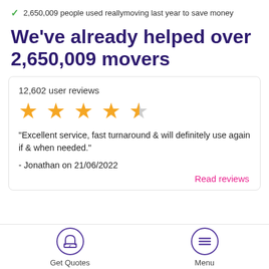2,650,009 people used reallymoving last year to save money
We've already helped over 2,650,009 movers
12,602 user reviews
[Figure (other): 4.5 star rating shown with 4 full gold stars and 1 half/grey star]
"Excellent service, fast turnaround & will definitely use again if & when needed."
- Jonathan on 21/06/2022
Read reviews
Get Quotes | Menu